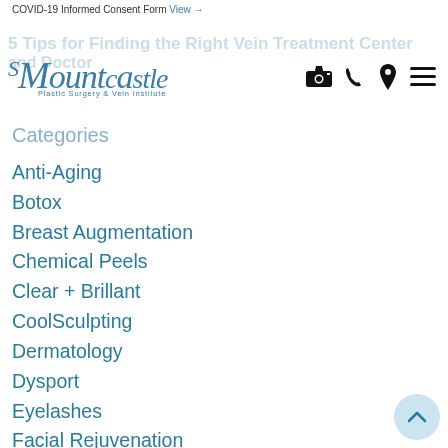COVID-19 Informed Consent Form View →
[Figure (logo): Mountcastle Plastic Surgery & Vein Institute logo with script font and navigation icons (camera, phone, location, menu)]
Categories
Anti-Aging
Botox
Breast Augmentation
Chemical Peels
Clear + Brillant
CoolSculpting
Dermatology
Dysport
Eyelashes
Facial Rejuvenation
Fillers
Insurance
IPL Photo Rejuvenation
Keloid Scar Removal